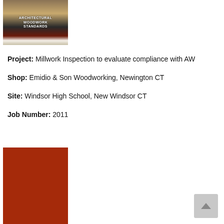[Figure (photo): Photo of a book titled 'Architectural Woodwork Standards' on a desk with papers]
Project: Millwork Inspection to evaluate compliance with AW...
Shop: Emidio & Son Woodworking, Newington CT
Site: Windsor High School, New Windsor CT
Job Number: 2011
[Figure (photo): Photo with a dark red/brown background, partially visible]